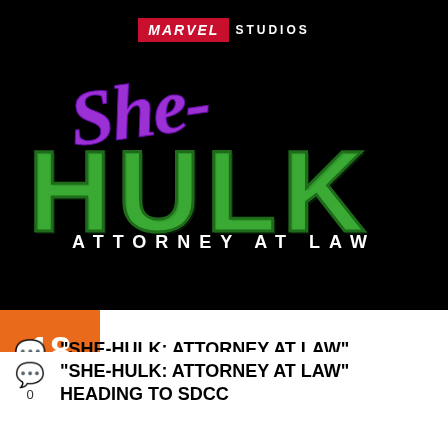[Figure (logo): Marvel Studios She-Hulk: Attorney at Law title card/logo on black background. Marvel Studios logo at top, stylized 'She-' in purple script and 'HULK' in large green 3D letters, 'ATTORNEY AT LAW' in white spaced capitals below.]
18 JUN
“SHE-HULK: ATTORNEY AT LAW” HEADING TO SDCC